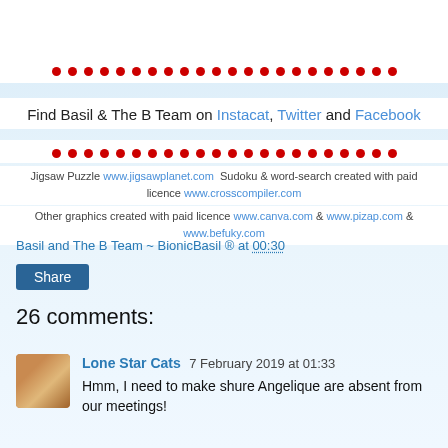[Figure (illustration): Top white bar with partial cat face illustration (eyes/ears visible, cut off at top)]
● ● ● ● ● ● ● ● ● ● ● ● ● ● ● ● ● ● ● ● ● ●
Find Basil & The B Team on Instacat, Twitter and Facebook
● ● ● ● ● ● ● ● ● ● ● ● ● ● ● ● ● ● ● ● ● ●
Jigsaw Puzzle www.jigsawplanet.com  Sudoku & word-search created with paid licence www.crosscompiler.com
Other graphics created with paid licence www.canva.com & www.pizap.com & www.befuky.com
Basil and The B Team ~ BionicBasil ® at 00:30
Share
26 comments:
Lone Star Cats  7 February 2019 at 01:33
Hmm, I need to make shure Angelique are absent from our meetings!